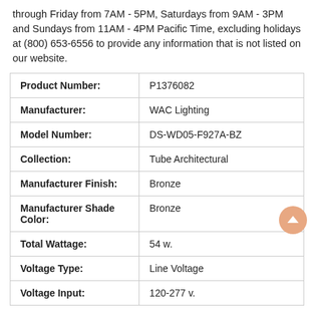through Friday from 7AM - 5PM, Saturdays from 9AM - 3PM and Sundays from 11AM - 4PM Pacific Time, excluding holidays at (800) 653-6556 to provide any information that is not listed on our website.
| Product Number: | P1376082 |
| Manufacturer: | WAC Lighting |
| Model Number: | DS-WD05-F927A-BZ |
| Collection: | Tube Architectural |
| Manufacturer Finish: | Bronze |
| Manufacturer Shade Color: | Bronze |
| Total Wattage: | 54 w. |
| Voltage Type: | Line Voltage |
| Voltage Input: | 120-277 v. |